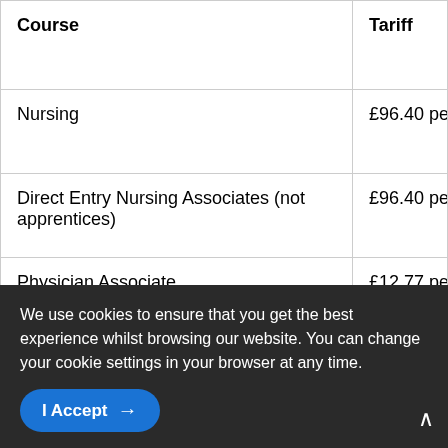| Course | Tariff |
| --- | --- |
| Nursing | £96.40 per… |
| Direct Entry Nursing Associates (not apprentices) | £96.40 per… |
| Physician Associate | £12.77 per… |
| Paramedic | TBC - appr… |
| (OT row partially visible) | £80-£100… |
We use cookies to ensure that you get the best experience whilst browsing our website. You can change your cookie settings in your browser at any time.